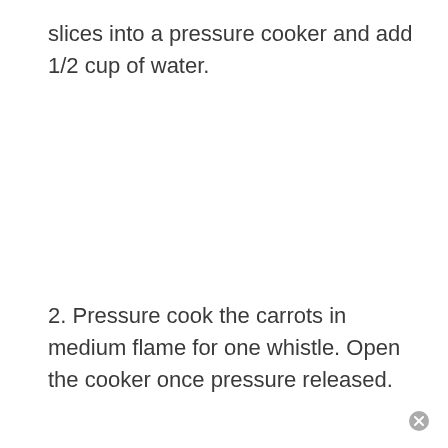slices into a pressure cooker and add 1/2 cup of water.
2. Pressure cook the carrots in medium flame for one whistle. Open the cooker once pressure released.